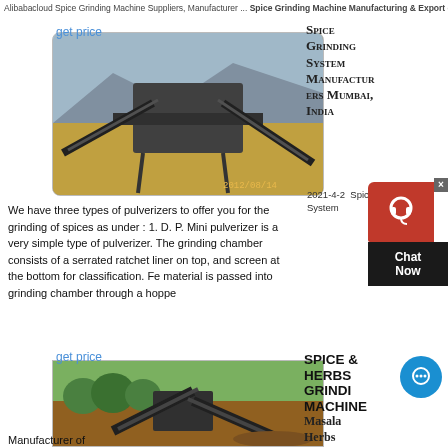Alibabacloud Spice Grinding Machine Suppliers, Manufacturer ... Spice Grinding Machine Manufacturing & Export company in India.
get price
[Figure (photo): Industrial mining/crushing machinery at an open-pit site with conveyor belts and heavy equipment. Date stamp: 2012/08/14]
Spice Grinding System Manufacturers Mumbai, India
2021-4-2  Spice Grinding System
We have three types of pulverizers to offer you for the grinding of spices as under : 1. D. P. Mini pulverizer is a very simple type of pulverizer. The grinding chamber consists of a serrated ratchet liner on top, and screen at the bottom for classification. Fe material is passed into grinding chamber through a hoppe
get price
SPICE & HERBS GRINDING MACHINE Masala Herbs
[Figure (photo): Mobile crushing/screening equipment at an outdoor earthworks site with trees in background, soil and aggregate material visible.]
Manufacturer of